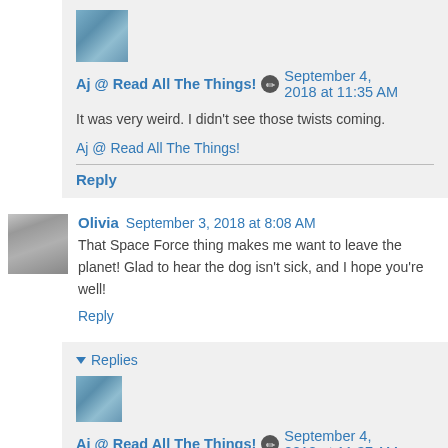Aj @ Read All The Things! September 4, 2018 at 11:35 AM
It was very weird. I didn't see those twists coming.
Aj @ Read All The Things!
Reply
Olivia September 3, 2018 at 8:08 AM
That Space Force thing makes me want to leave the planet! Glad to hear the dog isn't sick, and I hope you're well!
Reply
Replies
Aj @ Read All The Things! September 4, 2018 at 11:37 AM